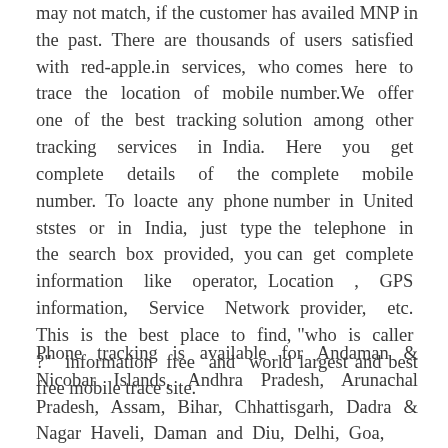may not match, if the customer has availed MNP in the past. There are thousands of users satisfied with red-apple.in services, who comes here to trace the location of mobile number.We offer one of the best tracking solution among other tracking services in India. Here you get complete details of the complete mobile number. To loacte any phone number in United ststes or in India, just type the telephone in the search box provided, you can get complete information like operator, Location , GPS information, Service Network provider, etc. This is the best place to find, "who is caller ?" information free and world largest and best free mobile trace site.
Phone tracking is available for Andaman & Nicobar Islands, Andhra Pradesh, Arunachal Pradesh, Assam, Bihar, Chhattisgarh, Dadra & Nagar Haveli, Daman and Diu, Delhi, Goa,